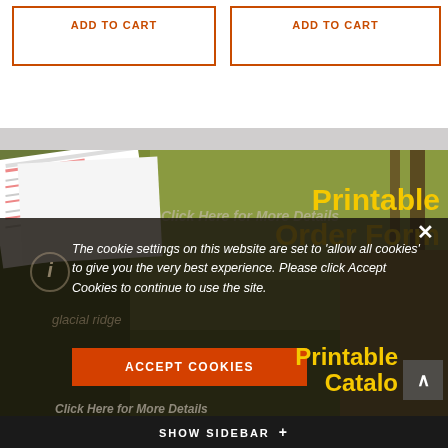[Figure (screenshot): Two 'ADD TO CART' buttons with orange borders on white background]
[Figure (photo): Garden nursery photo with grass plants in background, paper order form overlay, text 'Printable Order Form' in yellow]
Click Here for More Details
The cookie settings on this website are set to 'allow all cookies' to give you the very best experience. Please click Accept Cookies to continue to use the site.
ACCEPT COOKIES
Printable Catalog
Click Here for More Details
SHOW SIDEBAR +